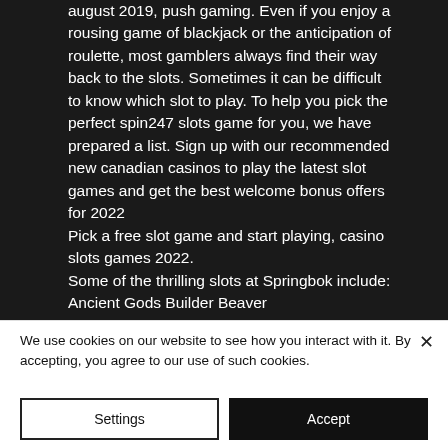august 2019, push gaming. Even if you enjoy a rousing game of blackjack or the anticipation of roulette, most gamblers always find their way back to the slots. Sometimes it can be difficult to know which slot to play. To help you pick the perfect spin247 slots game for you, we have prepared a list. Sign up with our recommended new canadian casinos to play the latest slot games and get the best welcome bonus offers for 2022 Pick a free slot game and start playing, casino slots games 2022. Some of the thrilling slots at Springbok include: Ancient Gods Builder Beaver
We use cookies on our website to see how you interact with it. By accepting, you agree to our use of such cookies.
Settings
Accept